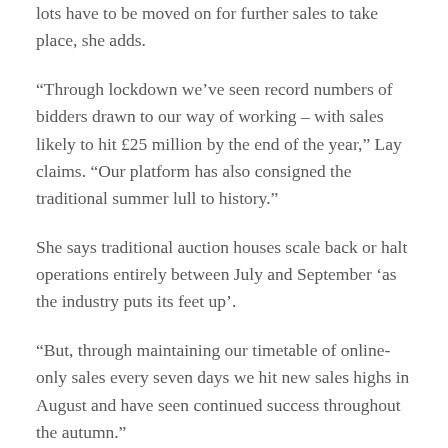lots have to be moved on for further sales to take place, she adds.
“Through lockdown we’ve seen record numbers of bidders drawn to our way of working – with sales likely to hit £25 million by the end of the year,” Lay claims. “Our platform has also consigned the traditional summer lull to history.”
She says traditional auction houses scale back or halt operations entirely between July and September ‘as the industry puts its feet up’.
“But, through maintaining our timetable of online-only sales every seven days we hit new sales highs in August and have seen continued success throughout the autumn.”